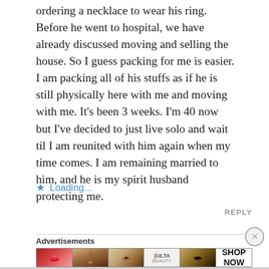ordering a necklace to wear his ring. Before he went to hospital, we have already discussed moving and selling the house. So I guess packing for me is easier. I am packing all of his stuffs as if he is still physically here with me and moving with me. It's been 3 weeks. I'm 40 now but I've decided to just live solo and wait til I am reunited with him again when my time comes. I am remaining married to him, and he is my spirit husband protecting me.
Loading...
REPLY
Advertisements
[Figure (photo): Ulta Beauty advertisement banner with images of lips with lipstick, makeup brush, eye with eyeshadow, Ulta Beauty logo, eye with dramatic eye makeup, and text reading SHOP NOW]